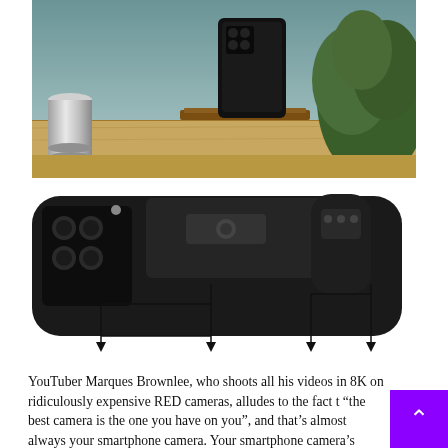[Figure (photo): Photo of a black iPhone in a standing case/mount on a wooden shelf, with a silver metallic cup on the left and green plants on the right, teal-colored wall background]
[Figure (photo): Diagram/photo of a black iPhone case with a foldable stand attachment shown from the back, with four downward arrows pointing to labeled component areas of the accessory mechanism]
YouTuber Marques Brownlee, who shoots all his videos in 8K on ridiculously expensive RED cameras, alludes to the fact that "the best camera is the one you have on you", and that's almost always your smartphone camera. Your smartphone camera's image processing engine is arguably powerful enough